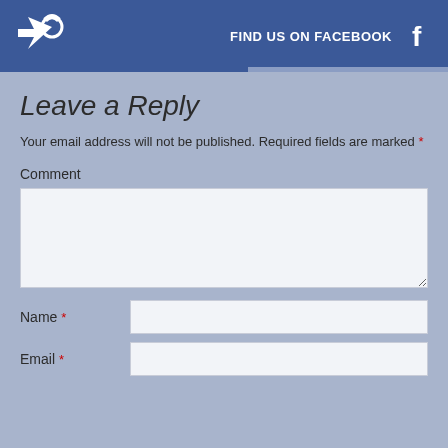[Figure (infographic): Blue Facebook header banner with a white hand/cursor icon on the left, and 'FIND US ON FACEBOOK' text with Facebook 'f' logo on the right]
Leave a Reply
Your email address will not be published. Required fields are marked *
Comment
Name *
Email *